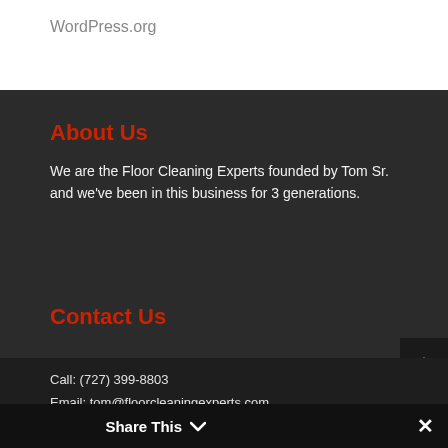WordPress.org
About Us
We are the Floor Cleaning Experts founded by Tom Sr. and we've been in this business for 3 generations.
Contact Us
Call: (727) 399-8803
Email: tom@floorcleaningexperts.com
Share This